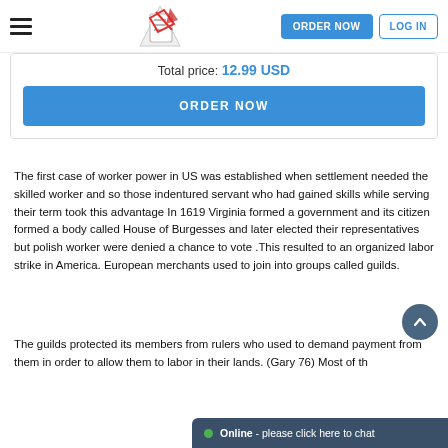ORDER NOW  LOG IN
Total price: 12.99 USD
ORDER NOW
The first case of worker power in US was established when settlement needed the skilled worker and so those indentured servant who had gained skills while serving their term took this advantage In 1619 Virginia formed a government and its citizen formed a body called House of Burgesses and later elected their representatives but polish worker were denied a chance to vote .This resulted to an organized labor strike in America. European merchants used to join into groups called guilds.
The guilds protected its members from rulers who used to demand payment from them in order to allow them to labor in their lands. (Gary 76) Most of th